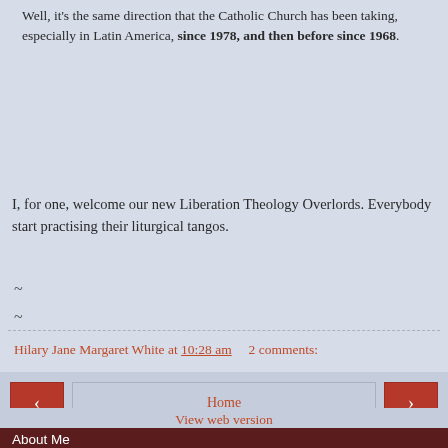Well, it's the same direction that the Catholic Church has been taking, especially in Latin America, since 1978, and then before since 1968.
I, for one, welcome our new Liberation Theology Overlords. Everybody start practising their liturgical tangos.
~
~
Hilary Jane Margaret White at 10:28 am   2 comments:
Home
View web version
About Me